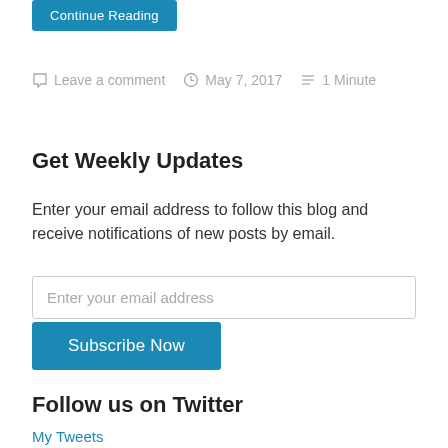[Figure (other): Partial blue button (Continue Reading) at top of page, cropped]
Leave a comment   May 7, 2017   1 Minute
Get Weekly Updates
Enter your email address to follow this blog and receive notifications of new posts by email.
Enter your email address
[Figure (other): Subscribe Now button (blue)]
Follow us on Twitter
My Tweets